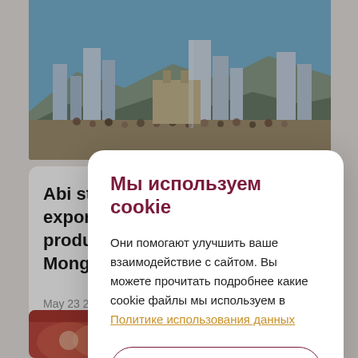[Figure (photo): City skyline photo showing urban square with crowds of people, modern buildings and mountains in background under blue sky]
Abi started exporting its products to Mongolia
May 23 2023
[Figure (photo): Close-up photo of decorative sausages or meat products]
Мы используем cookie
Они помогают улучшить ваше взаимодействие с сайтом. Вы можете прочитать подробнее какие cookie файлы мы используем в Политике использования данных
Принять